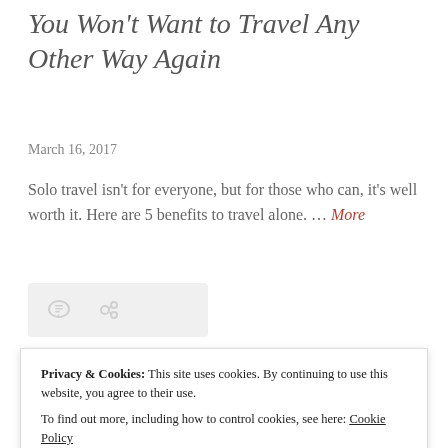You Won't Want to Travel Any Other Way Again
March 16, 2017
Solo travel isn't for everyone, but for those who can, it's well worth it. Here are 5 benefits to travel alone. … More
[Figure (other): Icon bar with comment and link icons on a light gray rounded rectangle background]
[Figure (photo): Partial photo showing blue sky with clouds at top and tropical greenery at bottom]
Privacy & Cookies: This site uses cookies. By continuing to use this website, you agree to their use. To find out more, including how to control cookies, see here: Cookie Policy
Close and accept